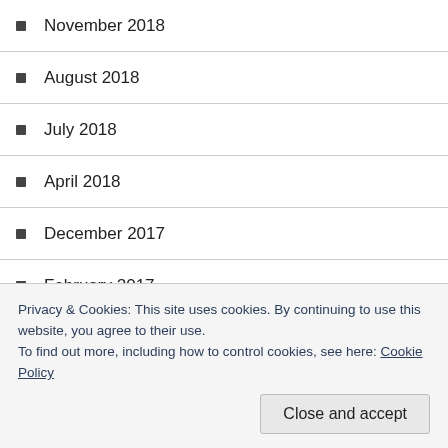November 2018
August 2018
July 2018
April 2018
December 2017
February 2017
January 2017
December 2016
November 2016
August 2016
June 2016
Privacy & Cookies: This site uses cookies. By continuing to use this website, you agree to their use.
To find out more, including how to control cookies, see here: Cookie Policy
Close and accept